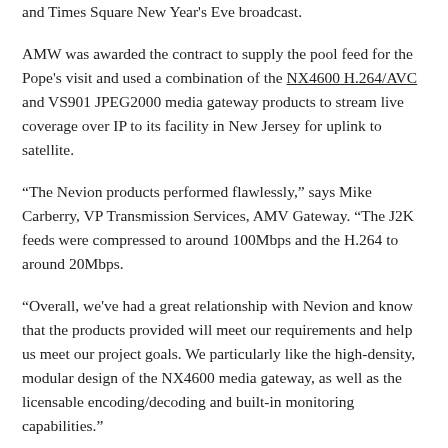and Times Square New Year's Eve broadcast.
AMW was awarded the contract to supply the pool feed for the Pope's visit and used a combination of the NX4600 H.264/AVC and VS901 JPEG2000 media gateway products to stream live coverage over IP to its facility in New Jersey for uplink to satellite.
“The Nevion products performed flawlessly,” says Mike Carberry, VP Transmission Services, AMV Gateway. “The J2K feeds were compressed to around 100Mbps and the H.264 to around 20Mbps.
“Overall, we've had a great relationship with Nevion and know that the products provided will meet our requirements and help us meet our project goals. We particularly like the high-density, modular design of the NX4600 media gateway, as well as the licensable encoding/decoding and built-in monitoring capabilities.”